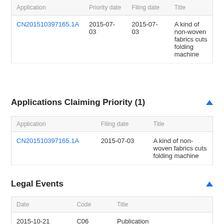| Application | Priority date | Filing date | Title |
| --- | --- | --- | --- |
| CN201510397165.1A | 2015-07-03 | 2015-07-03 | A kind of non-woven fabrics cuts folding machine |
Applications Claiming Priority (1)
| Application | Filing date | Title |
| --- | --- | --- |
| CN201510397165.1A | 2015-07-03 | A kind of non-woven fabrics cuts folding machine |
Legal Events
| Date | Code | Title |
| --- | --- | --- |
| 2015-10-21 | C06 | Publication |